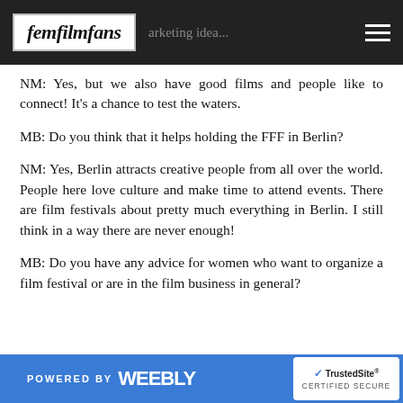femfilmfans — marketing idea...
NM: Yes, but we also have good films and people like to connect! It's a chance to test the waters.
MB: Do you think that it helps holding the FFF in Berlin?
NM: Yes, Berlin attracts creative people from all over the world. People here love culture and make time to attend events. There are film festivals about pretty much everything in Berlin. I still think in a way there are never enough!
MB: Do you have any advice for women who want to organize a film festival or are in the film business in general?
POWERED BY weebly — TrustedSite CERTIFIED SECURE